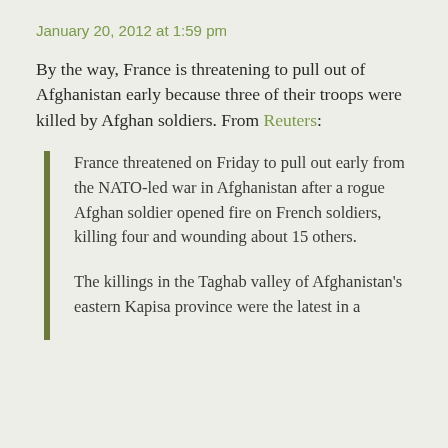January 20, 2012 at 1:59 pm
By the way, France is threatening to pull out of Afghanistan early because three of their troops were killed by Afghan soldiers. From Reuters:
France threatened on Friday to pull out early from the NATO-led war in Afghanistan after a rogue Afghan soldier opened fire on French soldiers, killing four and wounding about 15 others.
The killings in the Taghab valley of Afghanistan's eastern Kapisa province were the latest in a